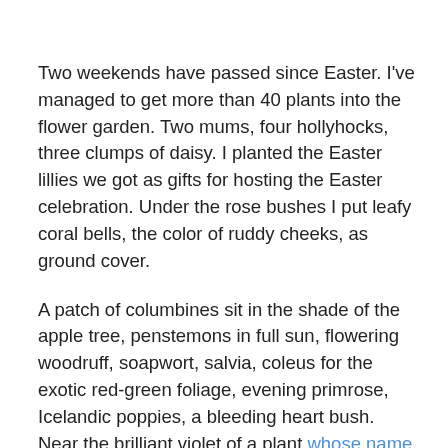Two weekends have passed since Easter. I've managed to get more than 40 plants into the flower garden. Two mums, four hollyhocks, three clumps of daisy. I planted the Easter lillies we got as gifts for hosting the Easter celebration. Under the rose bushes I put leafy coral bells, the color of ruddy cheeks, as ground cover.
A patch of columbines sit in the shade of the apple tree, penstemons in full sun, flowering woodruff, soapwort, salvia, coleus for the exotic red-green foliage, evening primrose, Icelandic poppies, a bleeding heart bush. Near the brilliant violet of a plant whose name I've forgotten, I seed small marigolds. I can just imagine the bright orange-yellow against the purple in summer. Because I know Jim